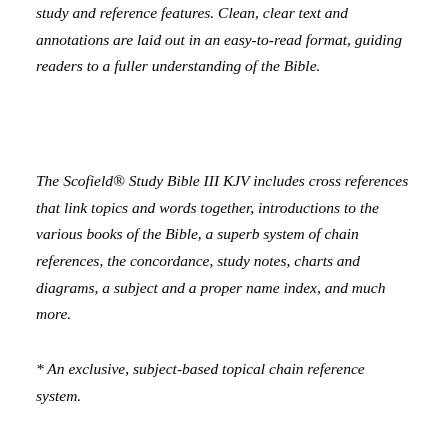study and reference features. Clean, clear text and annotations are laid out in an easy-to-read format, guiding readers to a fuller understanding of the Bible.
The Scofield® Study Bible III KJV includes cross references that link topics and words together, introductions to the various books of the Bible, a superb system of chain references, the concordance, study notes, charts and diagrams, a subject and a proper name index, and much more.
* An exclusive, subject-based topical chain reference system.